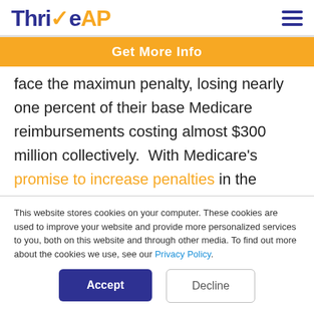ThriveAP
Get More Info
face the maximun penalty, losing nearly one percent of their base Medicare reimbursements costing almost $300 million collectively.  With Medicare's promise to increase penalties in the coming years, hospitals are scrambling to comply with these
This website stores cookies on your computer. These cookies are used to improve your website and provide more personalized services to you, both on this website and through other media. To find out more about the cookies we use, see our Privacy Policy.
Accept
Decline